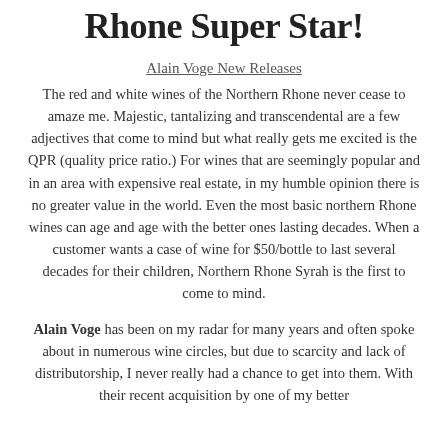Rhone Super Star!
Alain Voge New Releases
The red and white wines of the Northern Rhone never cease to amaze me. Majestic, tantalizing and transcendental are a few adjectives that come to mind but what really gets me excited is the QPR (quality price ratio.) For wines that are seemingly popular and in an area with expensive real estate, in my humble opinion there is no greater value in the world. Even the most basic northern Rhone wines can age and age with the better ones lasting decades. When a customer wants a case of wine for $50/bottle to last several decades for their children, Northern Rhone Syrah is the first to come to mind.
Alain Voge has been on my radar for many years and often spoke about in numerous wine circles, but due to scarcity and lack of distributorship, I never really had a chance to get into them. With their recent acquisition by one of my better